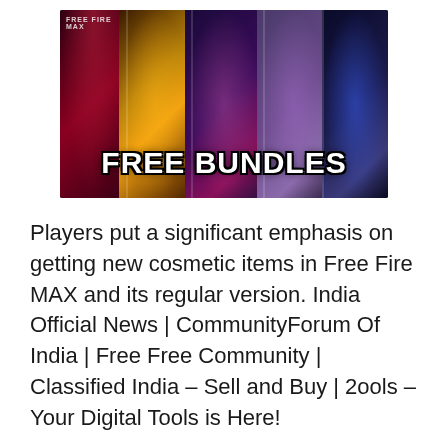[Figure (illustration): Free Fire MAX game promotional banner showing five characters in distinct colored panels with 'FREE BUNDLES' text overlay in bold white letters with black outline]
Players put a significant emphasis on getting new cosmetic items in Free Fire MAX and its regular version. India Official News | CommunityForum Of India | Free Free Community | Classified India – Sell and Buy | 2ools – Your Digital Tools is Here!